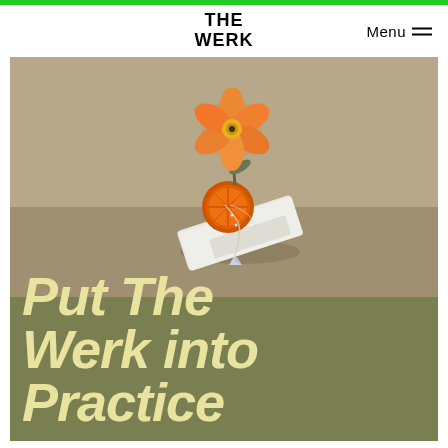THE WERK
[Figure (photo): Photo of a sculptural still life: an orange flower balanced on top of an orange slice which rests on a white stone or plaster block, all stacked on a small pedestal, with a delicate silver chain draped over it, set against a neutral beige/grey background.]
Put The Werk into Practice